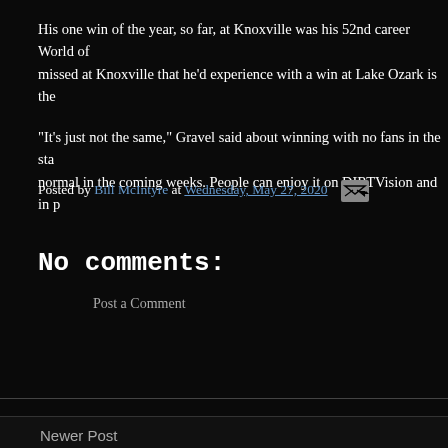His one win of the year, so far, at Knoxville was his 52nd career World of missed at Knoxville that he'd experience with a win at Lake Ozark is the
“It’s just not the same,” Gravel said about winning with no fans in the sta normal in the coming weeks. People can enjoy it on DIRTVision and in p
Posted by Bill McIntyre at Wednesday, May 27, 2020
No comments:
Post a Comment
Newer Post